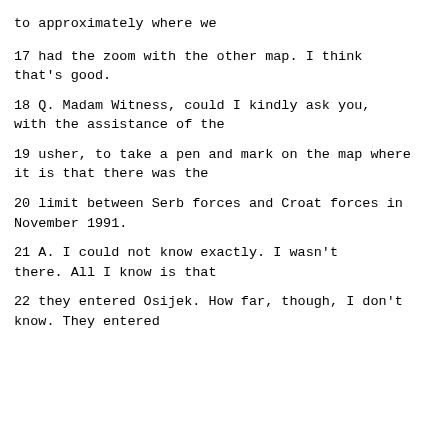to approximately where we
17     had the zoom with the other map.  I think that's good.
18          Q.   Madam Witness, could I kindly ask you, with the assistance of the
19     usher, to take a pen and mark on the map where it is that there was the
20     limit between Serb forces and Croat forces in November 1991.
21          A.   I could not know exactly.  I wasn't there.  All I know is that
22     they entered Osijek.  How far, though, I don't know.  They entered